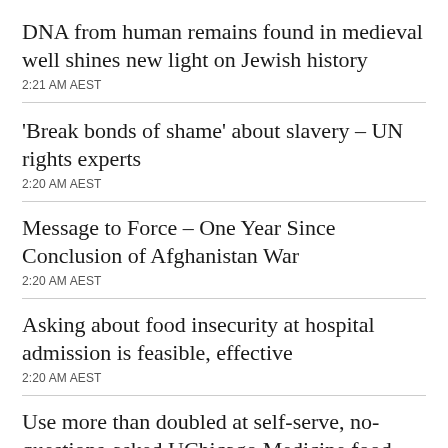DNA from human remains found in medieval well shines new light on Jewish history
2:21 AM AEST
‘Break bonds of shame’ about slavery – UN rights experts
2:20 AM AEST
Message to Force – One Year Since Conclusion of Afghanistan War
2:20 AM AEST
Asking about food insecurity at hospital admission is feasible, effective
2:20 AM AEST
Use more than doubled at self-serve, no-questions-asked UChicago Medicine food pantries during pandemic